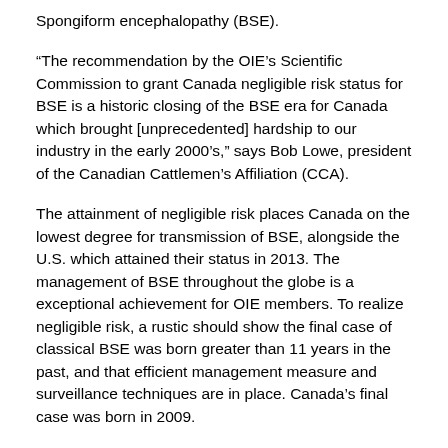Spongiform encephalopathy (BSE).
“The recommendation by the OIE’s Scientific Commission to grant Canada negligible risk status for BSE is a historic closing of the BSE era for Canada which brought [unprecedented] hardship to our industry in the early 2000’s,” says Bob Lowe, president of the Canadian Cattlemen’s Affiliation (CCA).
The attainment of negligible risk places Canada on the lowest degree for transmission of BSE, alongside the U.S. which attained their status in 2013. The management of BSE throughout the globe is a exceptional achievement for OIE members. To realize negligible risk, a rustic should show the final case of classical BSE was born greater than 11 years in the past, and that efficient management measure and surveillance techniques are in place. Canada’s final case was born in 2009.